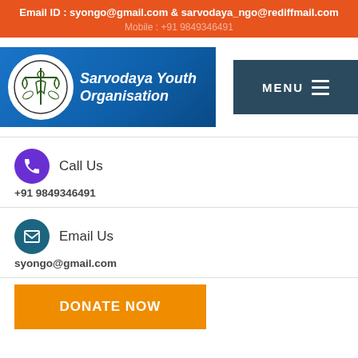Email ID : syongo@gmail.com & sarvodaya_ngo@rediffmail.com
Mobile : +91 9849346491
[Figure (logo): Sarvodaya Youth Organisation logo with circular emblem on blue gradient background]
Call Us
+91 9849346491
Email Us
syongo@gmail.com
DONATE NOW